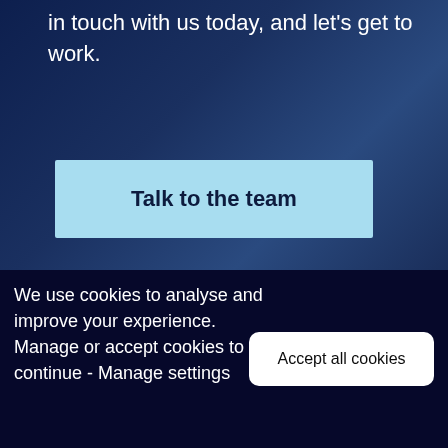in touch with us today, and let’s get to work.
[Figure (other): Dark blue overlay section with office background photo, containing a call-to-action button labeled 'Talk to the team']
We use cookies to analyse and improve your experience. Manage or accept cookies to continue - Manage settings
Accept all cookies